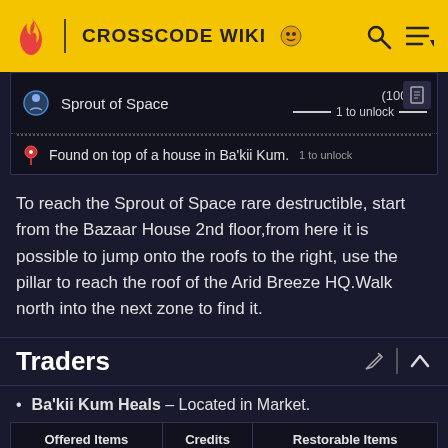CROSSCODE WIKI
[Figure (screenshot): Game UI card showing Sprout of Space item with (100%) and 1 to unlock indicator]
Found on top of a house in Ba'kii Kum. 1 to unlock
To reach the Sprout of Space rare destructible, start from the Bazaar House 2nd floor,from here it is possible to jump onto the roofs to the right, use the pillar to reach the roof of the Arid Breeze HQ.Walk north into the next zone to find it.
Traders
Ba'kii Kum Heals – Located in Market.
| Offered Items | Credits | Restorable Items |
| --- | --- | --- |